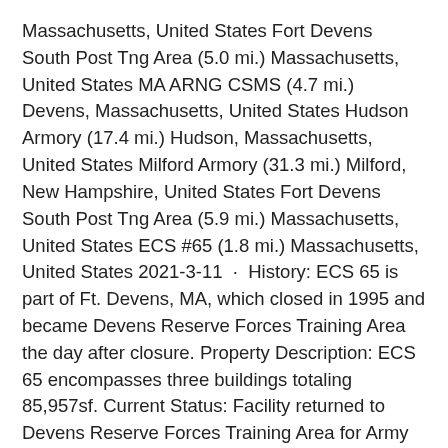Massachusetts, United States Fort Devens South Post Tng Area (5.0 mi.) Massachusetts, United States MA ARNG CSMS (4.7 mi.) Devens, Massachusetts, United States Hudson Armory (17.4 mi.) Hudson, Massachusetts, United States Milford Armory (31.3 mi.) Milford, New Hampshire, United States Fort Devens South Post Tng Area (5.9 mi.) Massachusetts, United States ECS #65 (1.8 mi.) Massachusetts, United States 2021-3-11 · History: ECS 65 is part of Ft. Devens, MA, which closed in 1995 and became Devens Reserve Forces Training Area the day after closure. Property Description: ECS 65 encompasses three buildings totaling 85,957sf. Current Status: Facility returned to Devens Reserve Forces Training Area for Army reuse in September 2011.
Kontoplan bas 2021 enskild firma